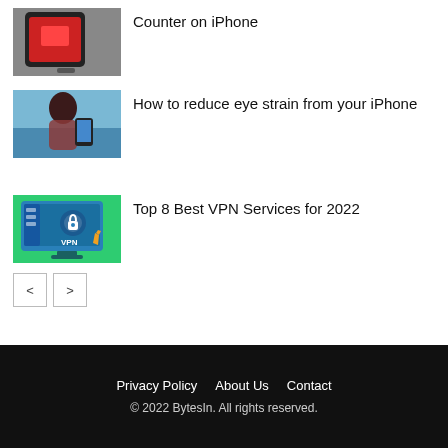[Figure (photo): Thumbnail image of a hand holding an iPhone with a red screen]
Counter on iPhone
[Figure (photo): Thumbnail image of a woman at a beach looking at her iPhone]
How to reduce eye strain from your iPhone
[Figure (illustration): Thumbnail illustration of a computer monitor displaying a VPN lock icon with a hand cursor, green background]
Top 8 Best VPN Services for 2022
< >
Privacy Policy   About Us   Contact
© 2022 BytesIn. All rights reserved.